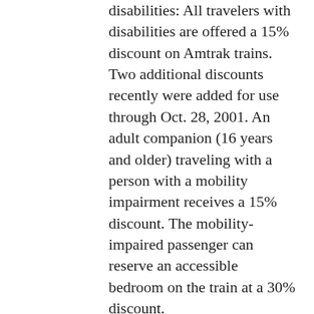disabilities: All travelers with disabilities are offered a 15% discount on Amtrak trains. Two additional discounts recently were added for use through Oct. 28, 2001. An adult companion (16 years and older) traveling with a person with a mobility impairment receives a 15% discount. The mobility-impaired passenger can reserve an accessible bedroom on the train at a 30% discount.
One-way travel: Unlike one-way air travel, which usually has an exorbitant price tag, one-way train travel, on select routes, can offer